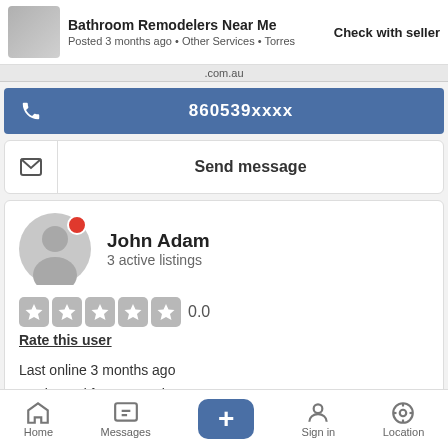Bathroom Remodelers Near Me   Check with seller
Posted 3 months ago • Other Services • Torres
.com.au
860539xxxx
Send message
John Adam
3 active listings
0.0
Rate this user
Last online 3 months ago
Registered for 3+ months
Seller's profile
All seller items (3)
Home   Messages   +   Sign in   Location